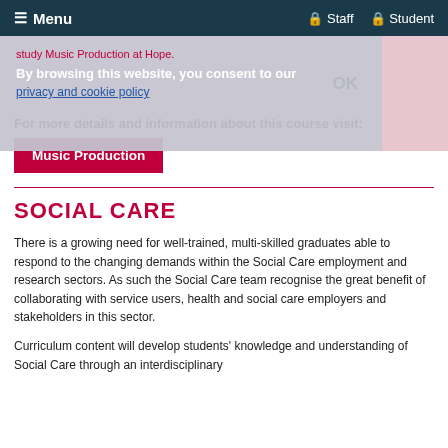≡ Menu  🔒 Staff  🔒 Student
study Music Production at Hope.
By browsing this website, you consent to our
privacy and cookie policy
OK
For more details and information about this course visit:
Music Production
SOCIAL CARE
There is a growing need for well-trained, multi-skilled graduates able to respond to the changing demands within the Social Care employment and research sectors. As such the Social Care team recognise the great benefit of collaborating with service users, health and social care employers and stakeholders in this sector.
Curriculum content will develop students' knowledge and understanding of Social Care through an interdisciplinary